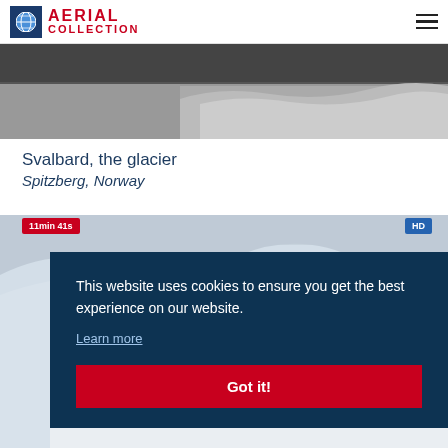AERIAL COLLECTION
[Figure (photo): Aerial view of glacier in dark water, grayscale, top strip hero image]
Svalbard, the glacier
Spitzberg, Norway
[Figure (photo): Aerial snow-covered mountain landscape, partially obscured by cookie consent dialog]
This website uses cookies to ensure you get the best experience on our website.
Learn more
Got it!